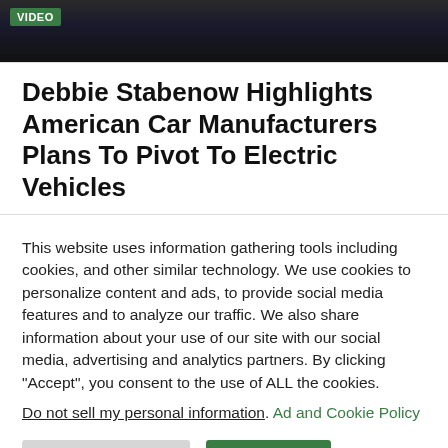[Figure (screenshot): Dark video thumbnail with a 'VIDEO' green badge label in the top-left corner. Shows a partial view of cars/tires on a dark background.]
Debbie Stabenow Highlights American Car Manufacturers Plans To Pivot To Electric Vehicles
This website uses information gathering tools including cookies, and other similar technology. We use cookies to personalize content and ads, to provide social media features and to analyze our traffic. We also share information about your use of our site with our social media, advertising and analytics partners. By clicking “Accept”, you consent to the use of ALL the cookies.
Do not sell my personal information. Ad and Cookie Policy
Cookie Settings  Accept